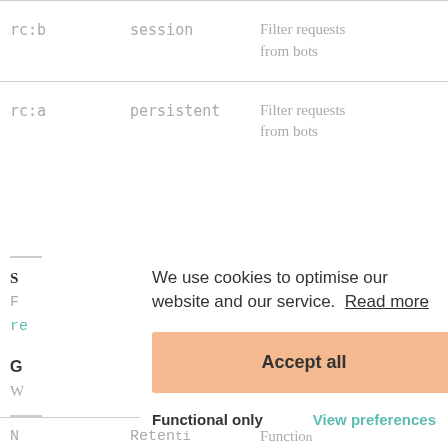| Cookie | Type | Description |
| --- | --- | --- |
| rc:b | session | Filter requests from bots |
| rc:a | persistent | Filter requests from bots |
We use cookies to optimise our website and our service.  Read more
Accept all
Functional only
View preferences